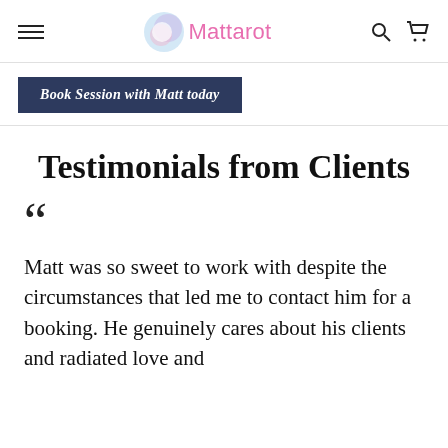Mattarot
Book Session with Matt today
Testimonials from Clients
““ Matt was so sweet to work with despite the circumstances that led me to contact him for a booking. He genuinely cares about his clients and radiated love and